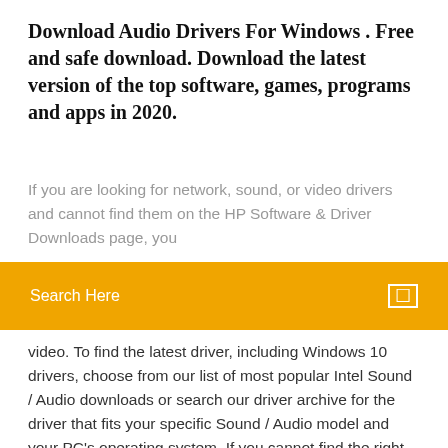Download Audio Drivers For Windows . Free and safe download. Download the latest version of the top software, games, programs and apps in 2020.
If you are looking for network, sound, or video drivers and cannot find them on the HP Software & Driver Downloads page, you
Search Here
video. To find the latest driver, including Windows 10 drivers, choose from our list of most popular Intel Sound / Audio downloads or search our driver archive for the driver that fits your specific Sound / Audio model and your PC's operating system. If you cannot find the right driver for your device, you can request the driver. We will find it for Download Acer support drivers by identifying your device first by entering your device serial number, SNID, or model number. Download Acer Support Drivers and Manuals in Products in Support in Press Drivers Realtek AC'07 Audio, Drivers Realtek AC'07 Audio is the official